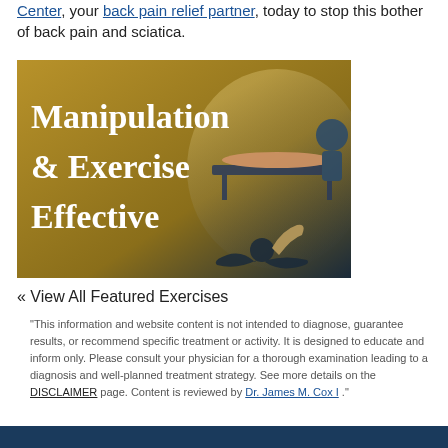Center, your back pain relief partner, today to stop this bother of back pain and sciatica.
[Figure (photo): Promotional image with gold/dark background showing text 'Manipulation & Exercise Effective' alongside photos of a chiropractor treating a patient on a table and a person doing a stretching exercise on the floor.]
« View All Featured Exercises
"This information and website content is not intended to diagnose, guarantee results, or recommend specific treatment or activity. It is designed to educate and inform only. Please consult your physician for a thorough examination leading to a diagnosis and well-planned treatment strategy. See more details on the DISCLAIMER page. Content is reviewed by Dr. James M. Cox I ."